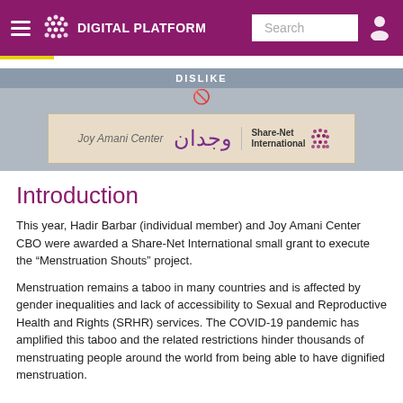DIGITAL PLATFORM
[Figure (screenshot): Partner logos bar showing Joy Amani Center, Wejdan (Arabic text), and Share-Net International logos on a beige/tan background with DISLIKE label above]
Introduction
This year, Hadir Barbar (individual member) and Joy Amani Center CBO were awarded a Share-Net International small grant to execute the “Menstruation Shouts” project.
Menstruation remains a taboo in many countries and is affected by gender inequalities and lack of accessibility to Sexual and Reproductive Health and Rights (SRHR) services. The COVID-19 pandemic has amplified this taboo and the related restrictions hinder thousands of menstruating people around the world from being able to have dignified menstruation.